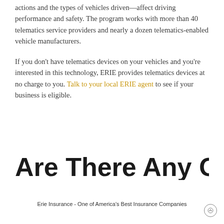actions and the types of vehicles driven—affect driving performance and safety. The program works with more than 40 telematics service providers and nearly a dozen telematics-enabled vehicle manufacturers.
If you don't have telematics devices on your vehicles and you're interested in this technology, ERIE provides telematics devices at no charge to you. Talk to your local ERIE agent to see if your business is eligible.
Are There Any Other
Erie Insurance - One of America's Best Insurance Companies